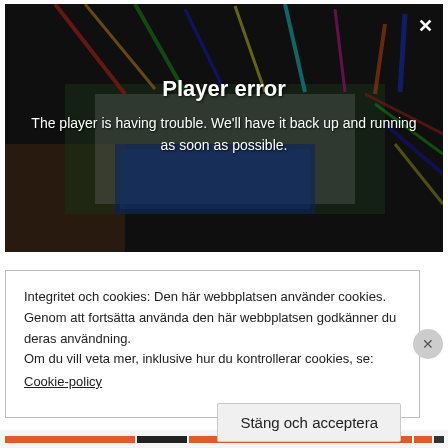[Figure (screenshot): Video player showing an error overlay on top of a photo of an Arduino breadboard with colorful wires and an LCD screen. The overlay shows 'Player error' and an error message. A white X close button is in the top right.]
Player error
The player is having trouble. We'll have it back up and running as soon as possible.
Integritet och cookies: Den här webbplatsen använder cookies. Genom att fortsätta använda den här webbplatsen godkänner du deras användning.
Om du vill veta mer, inklusive hur du kontrollerar cookies, se:
Cookie-policy
Stäng och acceptera